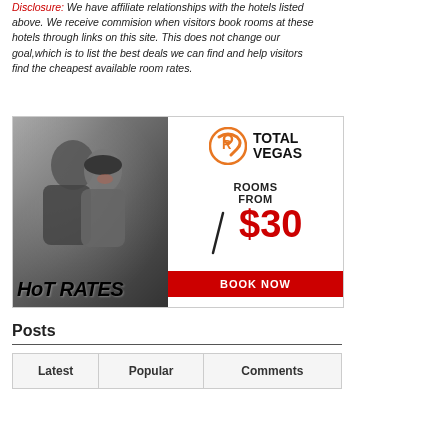Disclosure: We have affiliate relationships with the hotels listed above. We receive commision when visitors book rooms at these hotels through links on this site. This does not change our goal,which is to list the best deals we can find and help visitors find the cheapest available room rates.
[Figure (illustration): Advertisement banner for Total Vegas showing a couple laughing in the rain with 'Hot Rates' text on left side, and on right side Total Vegas logo, 'ROOMS FROM $30' offer, and a red 'BOOK NOW' button.]
Posts
| Latest | Popular | Comments |
| --- | --- | --- |